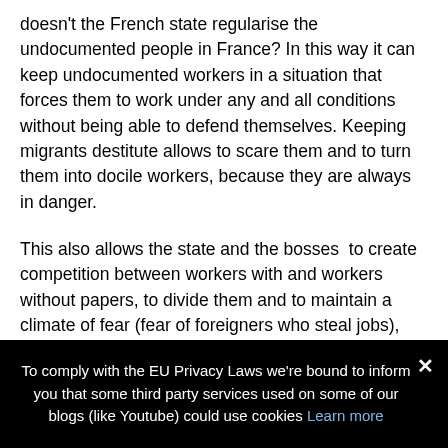doesn't the French state regularise the undocumented people in France? In this way it can keep undocumented workers in a situation that forces them to work under any and all conditions without being able to defend themselves. Keeping migrants destitute allows to scare them and to turn them into docile workers, because they are always in danger.
This also allows the state and the bosses  to create competition between workers with and workers without papers, to divide them and to maintain a climate of fear (fear of foreigners who steal jobs), that  leads to worsening working conditions for all.
The new law will make things worse for everyone
The labor law protects all workers: it's a minimum basis
To comply with the EU Privacy Laws we're bound to inform you that some third party services used on some of our blogs (like Youtube) could use cookies Learn more